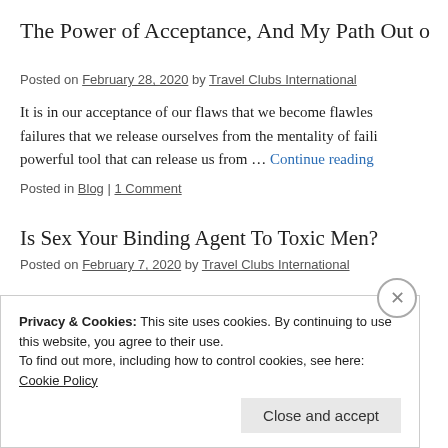The Power of Acceptance, And My Path Out o
Posted on February 28, 2020 by Travel Clubs International
It is in our acceptance of our flaws that we become flawles failures that we release ourselves from the mentality of faili powerful tool that can release us from … Continue reading
Posted in Blog | 1 Comment
Is Sex Your Binding Agent To Toxic Men?
Posted on February 7, 2020 by Travel Clubs International
Privacy & Cookies: This site uses cookies. By continuing to use this website, you agree to their use.
To find out more, including how to control cookies, see here: Cookie Policy
Close and accept